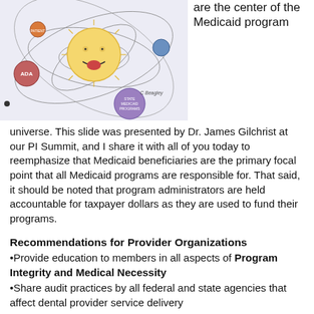[Figure (illustration): Illustration of a solar system with a baby face as the sun at center, surrounded by orbiting planets labeled with Medicaid program entities (ADA, State Medicaid Programs, etc.). Signed by C. Beagley.]
are the center of the Medicaid program universe. This slide was presented by Dr. James Gilchrist at our PI Summit, and I share it with all of you today to reemphasize that Medicaid beneficiaries are the primary focal point that all Medicaid programs are responsible for. That said, it should be noted that program administrators are held accountable for taxpayer dollars as they are used to fund their programs.
Recommendations for Provider Organizations
•Provide education to members in all aspects of Program Integrity and Medical Necessity
•Share audit practices by all federal and state agencies that affect dental provider service delivery
•Share audit practices by federal and state contractors